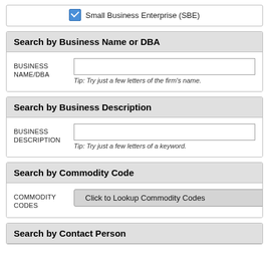Small Business Enterprise (SBE)
Search by Business Name or DBA
BUSINESS NAME/DBA
Tip: Try just a few letters of the firm's name.
Search by Business Description
BUSINESS DESCRIPTION
Tip: Try just a few letters of a keyword.
Search by Commodity Code
COMMODITY CODES
Click to Lookup Commodity Codes
Search by Contact Person